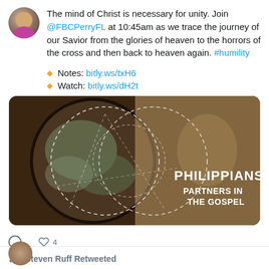The mind of Christ is necessary for unity. Join @FBCPerryFL at 10:45am as we trace the journey of our Savior from the glories of heaven to the horrors of the cross and then back to heaven again. #humility
Notes: bitly.ws/txH6
Watch: bitly.ws/dH2t
[Figure (illustration): Promotional image for Philippians: Partners in the Gospel series, showing a globe with dashed circle overlays on a dark background with text PHILIPPIANS PARTNERS IN THE GOSPEL]
4 (likes)
Steven Ruff Retweeted